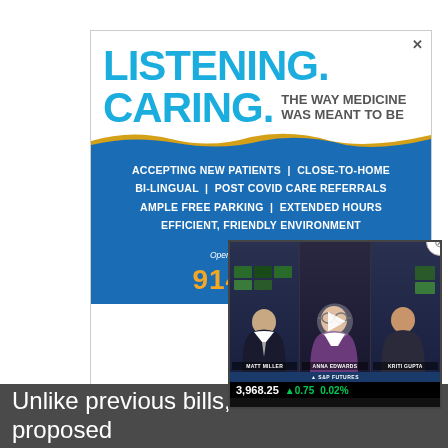[Figure (illustration): Medical practice advertisement with blue and white design. Large cyan text reads LISTENING. CARING. THE WAY MEDICINE WAS MEANT TO BE. Blue section lists services: ACCEPTING NEW PATIENTS | CLOSE-TO-HOME, BI-LINGUAL | POST COVID CARE REFERRALS, AMPLE FREE PARKING | EXTENDED HOURS, EFFICIENT, FRIENDLY ENVIRONMENT. Phone number 914.207... shown. Overlapping video player thumbnail showing three news anchors (MATT MILLER, ANNA EDWARDS, KRITI GUPTA) with S&P FUTURES ticker showing 3,968.25 ▲0.75 0.02%.]
Unlike previous bills, Biden has also proposed